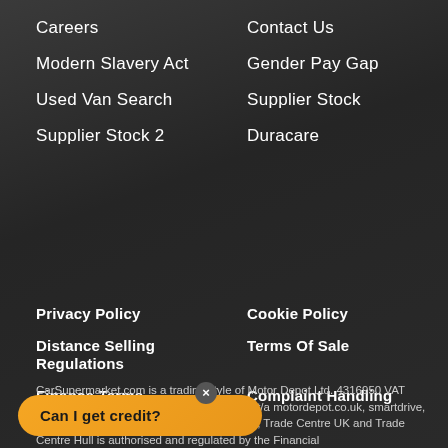Careers
Contact Us
Modern Slavery Act
Gender Pay Gap
Used Van Search
Supplier Stock
Supplier Stock 2
Duracare
Privacy Policy
Cookie Policy
Distance Selling Regulations
Terms Of Sale
Finance Terms
Complaint Handling
CarSupermarket.com is a trading style of Motor Depot Ltd. 4316950 VAT Number: 780 4977 88 Motor Depot Limited t/a motordepot.co.uk, smartdrive, supermarket.finance, interestfree4cars.com, Trade Centre UK and Trade Centre Hull is authorised and regulated by the Financial